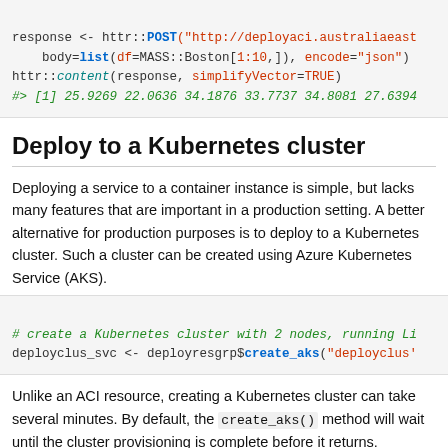[Figure (screenshot): Code block showing R code: response <- httr::POST with body=list(df=MASS::Boston[1:10,]), encode='json' and httr::content call, with output #> [1] 25.9269 22.0636 34.1876 33.7737 34.8081 27.6394]
Deploy to a Kubernetes cluster
Deploying a service to a container instance is simple, but lacks many features that are important in a production setting. A better alternative for production purposes is to deploy to a Kubernetes cluster. Such a cluster can be created using Azure Kubernetes Service (AKS).
[Figure (screenshot): Code block showing R code: # create a Kubernetes cluster with 2 nodes, running Li... deployclus_svc <- deployresgrp$create_aks('deployclus'...]
Unlike an ACI resource, creating a Kubernetes cluster can take several minutes. By default, the create_aks() method will wait until the cluster provisioning is complete before it returns.
Having created the cluster, we can deploy our model and create a service. We'll use a YAML configuration file to specify